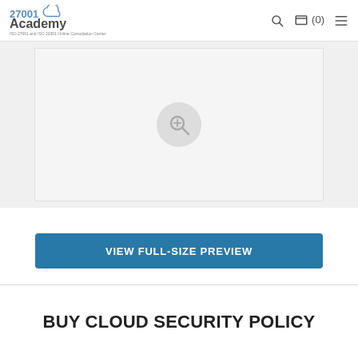27001 Academy — ISO 27001 and ISO 22301 Online Consultation Center
[Figure (screenshot): Document preview area with a light gray background and a zoom-in magnifier icon in the center]
VIEW FULL-SIZE PREVIEW
BUY CLOUD SECURITY POLICY